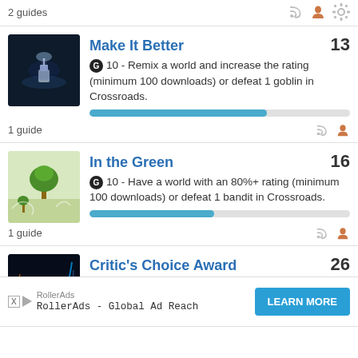2 guides
Make It Better — 13 — G 10 - Remix a world and increase the rating (minimum 100 downloads) or defeat 1 goblin in Crossroads. 1 guide
In the Green — 16 — G 10 - Have a world with an 80%+ rating (minimum 100 downloads) or defeat 1 bandit in Crossroads. 1 guide
Critic's Choice Award — 26 — G 15 - Have an 80%+ rating across all worlds
[Figure (other): RollerAds advertisement banner: RollerAds - Global Ad Reach, LEARN MORE button]